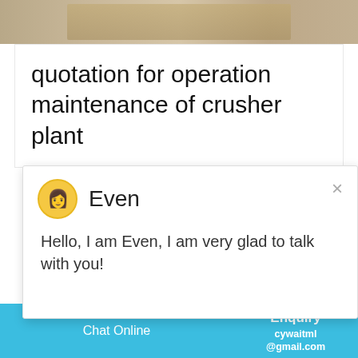[Figure (photo): Partial photo of industrial machinery or crusher plant at top of page]
quotation for operation maintenance of crusher plant
[Figure (screenshot): Chat popup with avatar of 'Even' saying: Hello, I am Even, I am very glad to talk with you! with a close button X]
machine or climbing machines to avoid d... lubrication of coal crusher Bearing lubric...
Get Quote
Enquiry
cywaitml@gmail.com
Chat Online